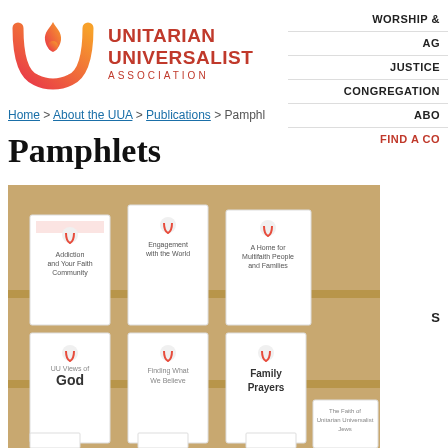[Figure (logo): Unitarian Universalist Association logo: flame/chalice in red-orange gradient with U-shape, beside bold red text UNITARIAN UNIVERSALIST ASSOCIATION]
WORSHIP &
AG
JUSTICE
CONGREGATION
ABO
FIND A CO
Home > About the UUA > Publications > Pamphl
Pamphlets
[Figure (photo): Photo of UUA pamphlets displayed in clear plastic holders on a wooden shelf. Pamphlet titles visible: 'Addiction and Your Faith Community', 'Engagement with the World', 'A Home for Multifaith People and Families', 'UU Views of God', 'Finding What We Believe', 'Family Prayers', 'The Faith of Unitarian Universalist Jews']
S